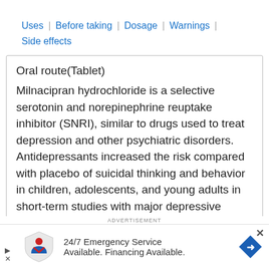Uses | Before taking | Dosage | Warnings | Side effects
Oral route(Tablet)
Milnacipran hydrochloride is a selective serotonin and norepinephrine reuptake inhibitor (SNRI), similar to drugs used to treat depression and other psychiatric disorders. Antidepressants increased the risk compared with placebo of suicidal thinking and behavior in children, adolescents, and young adults in short-term studies with major depressive disorder (MDD) and other psychiatric disorders. Short term studies did not show an increase in the
[Figure (infographic): Advertisement banner: 24/7 Emergency Service Available. Financing Available. with logo and navigation arrow icon.]